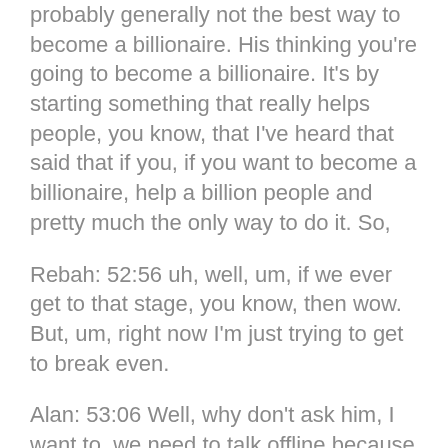probably generally not the best way to become a billionaire. His thinking you're going to become a billionaire. It's by starting something that really helps people, you know, that I've heard that said that if you, if you want to become a billionaire, help a billion people and pretty much the only way to do it. So,
Rebah: 52:56 uh, well, um, if we ever get to that stage, you know, then wow. But, um, right now I'm just trying to get to break even.
Alan: 53:06 Well, why don't ask him, I want to, we need to talk offline because